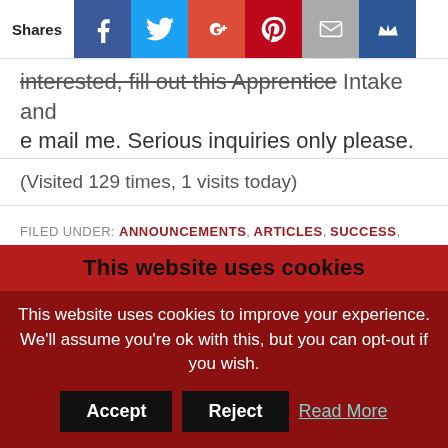[Figure (other): Social share bar with icons for Facebook, Twitter, Google+, Pinterest, Email, and Crown/bookmark. Labeled 'Shares' on the left.]
...interested, please fill out the Apprentice Intake and e mail me. Serious inquiries only please.
(Visited 129 times, 1 visits today)
FILED UNDER: ANNOUNCEMENTS, ARTICLES, SUCCESS, ZACH'S WORKOUTS
TAGGED WITH: GLADIATOR SEMINAR, KURT GREGORY, LAIRD HAMILTON, UNDERGROUND STRENGTH COACH APPRENTICE, UNDERGROUND STRENGTH GYM, UNDERGROUND STRENGTH TRAINING, VASILY ALEXEEV
This website uses cookies
This website uses cookies to improve your experience. We'll assume you're ok with this, but you can opt-out if you wish.
Accept  Reject  Read More